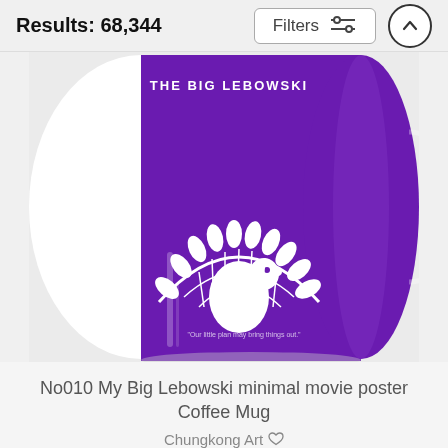Results: 68,344
[Figure (screenshot): Filters button with sliders icon and up-arrow circle button in header]
[Figure (photo): A white coffee mug with purple wrap showing The Big Lebowski minimal movie poster art (peacock silhouette in white on purple background)]
No010 My Big Lebowski minimal movie poster Coffee Mug
Chungkong Art ♡
$17 (strikethrough) $13